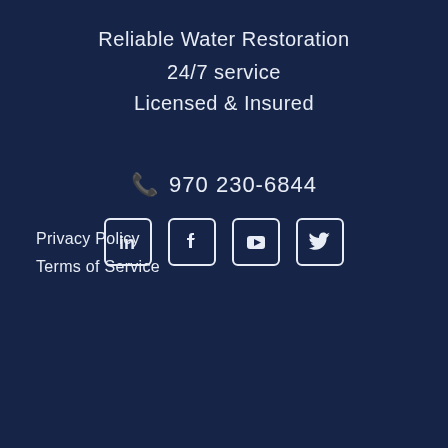Reliable Water Restoration
24/7 service
Licensed & Insured
970 230-6844
[Figure (infographic): Social media icons: LinkedIn, Facebook, YouTube, Twitter — white outlined square icons on dark navy background]
Privacy Policy
Terms of Service